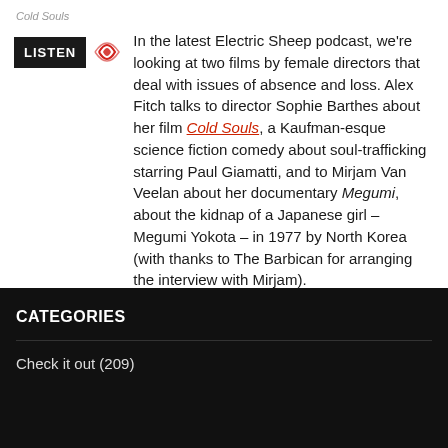Cold Souls
[Figure (other): LISTEN badge with sound wave icon]
In the latest Electric Sheep podcast, we're looking at two films by female directors that deal with issues of absence and loss. Alex Fitch talks to director Sophie Barthes about her film Cold Souls, a Kaufman-esque science fiction comedy about soul-trafficking starring Paul Giamatti, and to Mirjam Van Veelan about her documentary Megumi, about the kidnap of a Japanese girl – Megumi Yokota – in 1977 by North Korea (with thanks to The Barbican for arranging the interview with Mirjam).
CATEGORIES
Check it out (209)